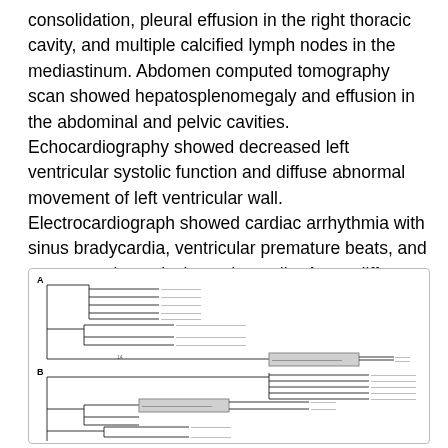consolidation, pleural effusion in the right thoracic cavity, and multiple calcified lymph nodes in the mediastinum. Abdomen computed tomography scan showed hepatosplenomegaly and effusion in the abdominal and pelvic cavities. Echocardiography showed decreased left ventricular systolic function and diffuse abnormal movement of left ventricular wall. Electrocardiograph showed cardiac arrhythmia with sinus bradycardia, ventricular premature beats, and paroxysmal ventricular tachycardia. Acute diffuse myocarditis was diagnosed and prompted dobutamine treatment.
[Figure (other): Phylogenetic tree diagram with two panels labeled A and B showing branching tree structures with labeled taxa and a highlighted rectangular selection box in each panel.]